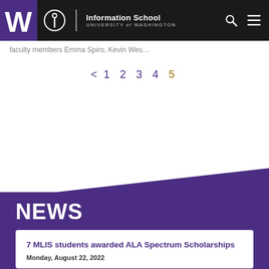Information School | University of Washington
faculty members Emma Spiro, Kevin Wes…
< 1 2 3 4 5
NEWS
7 MLIS students awarded ALA Spectrum Scholarships
Monday, August 22, 2022